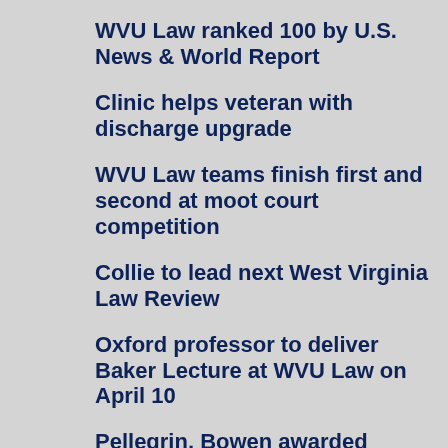WVU Law ranked 100 by U.S. News & World Report
Clinic helps veteran with discharge upgrade
WVU Law teams finish first and second at moot court competition
Collie to lead next West Virginia Law Review
Oxford professor to deliver Baker Lecture at WVU Law on April 10
Pellegrin, Bowen awarded